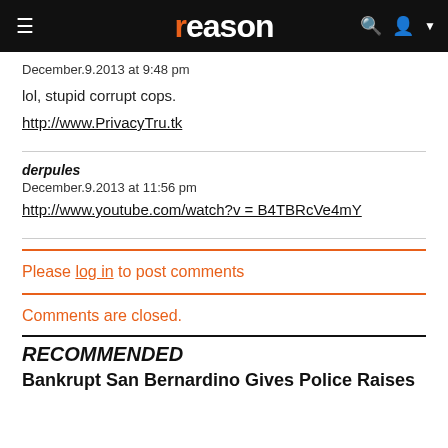reason
December.9.2013 at 9:48 pm
lol, stupid corrupt cops.
http://www.PrivacyTru.tk
derpules
December.9.2013 at 11:56 pm
http://www.youtube.com/watch?v=B4TBRcVe4mY
Please log in to post comments
Comments are closed.
RECOMMENDED
Bankrupt San Bernardino Gives Police Raises